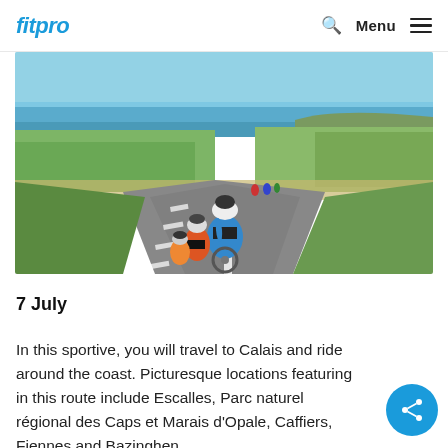fitpro | Menu
[Figure (photo): Cyclists riding on a coastal road in sunny weather, green fields and sea visible in the background]
7 July
In this sportive, you will travel to Calais and ride around the coast. Picturesque locations featuring in this route include Escalles, Parc naturel régional des Caps et Marais d'Opale, Caffiers, Fiennes and Bazinghen.